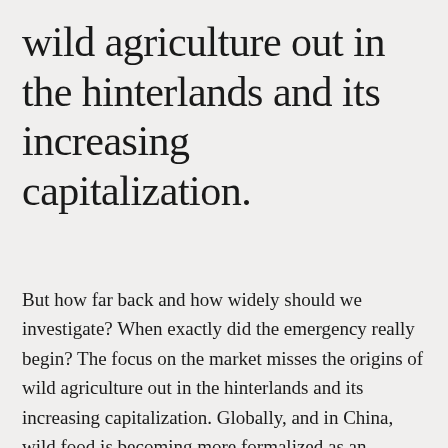wild agriculture out in the hinterlands and its increasing capitalization.
But how far back and how widely should we investigate? When exactly did the emergency really begin? The focus on the market misses the origins of wild agriculture out in the hinterlands and its increasing capitalization. Globally, and in China, wild food is becoming more formalized as an economic sector. But its relationship with industrial agriculture extends beyond merely sharing the same moneybags. As industrial production–hog, poultry, and the